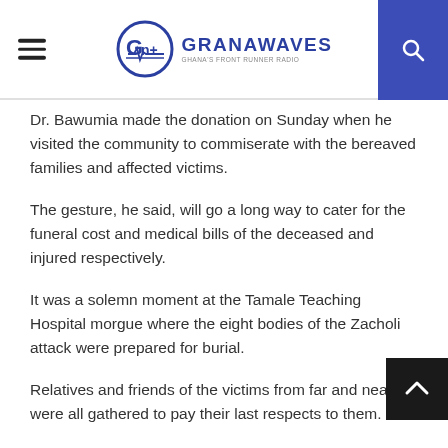GRANAWAVES — Ghana's Front Runner Radio
Dr. Bawumia made the donation on Sunday when he visited the community to commiserate with the bereaved families and affected victims.
The gesture, he said, will go a long way to cater for the funeral cost and medical bills of the deceased and injured respectively.
It was a solemn moment at the Tamale Teaching Hospital morgue where the eight bodies of the Zacholi attack were prepared for burial.
Relatives and friends of the victims from far and near were all gathered to pay their last respects to them.
The final prayer, Jenazah in Islam, was observed before